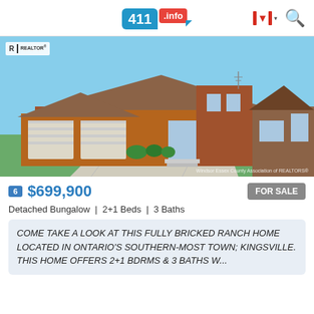411.info
[Figure (photo): Exterior photo of a fully bricked ranch bungalow with double garage, concrete driveway, and green lawn in Kingsville, Ontario. REALTOR logo in top-left corner.]
6  $699,900  FOR SALE
Detached Bungalow | 2+1 Beds | 3 Baths
COME TAKE A LOOK AT THIS FULLY BRICKED RANCH HOME LOCATED IN ONTARIO'S SOUTHERN-MOST TOWN; KINGSVILLE. THIS HOME OFFERS 2+1 BDRMS & 3 BATHS W...